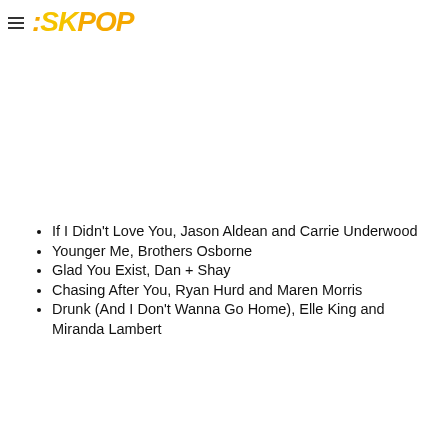SKPOP
If I Didn't Love You, Jason Aldean and Carrie Underwood
Younger Me, Brothers Osborne
Glad You Exist, Dan + Shay
Chasing After You, Ryan Hurd and Maren Morris
Drunk (And I Don't Wanna Go Home), Elle King and Miranda Lambert